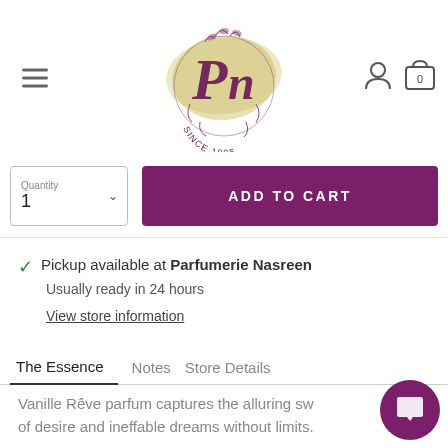[Figure (logo): Parfumerie Nasreen logo with Pn monogram, gold brushstroke background, floral wreath, text SINCE 1985]
Quantity
1
ADD TO CART
Pickup available at Parfumerie Nasreen
Usually ready in 24 hours
View store information
The Essence   Notes   Store Details
Vanille Rêve parfum captures the alluring sw... of desire and ineffable dreams without limits.